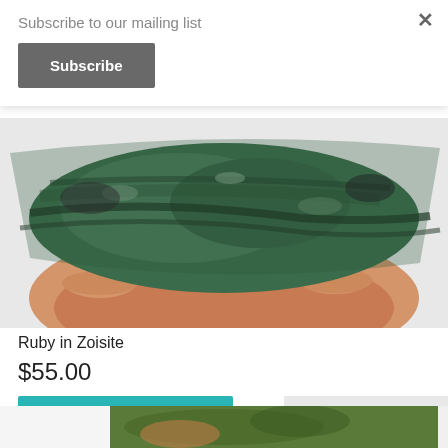Subscribe to our mailing list
Subscribe
[Figure (photo): A hand holding a green and black Ruby in Zoisite mineral specimen against a white background]
Ruby in Zoisite
$55.00
More details
Back to the top
[Figure (photo): Partial view of another product image at the bottom of the page, showing what appears to be a ring or mineral specimen]